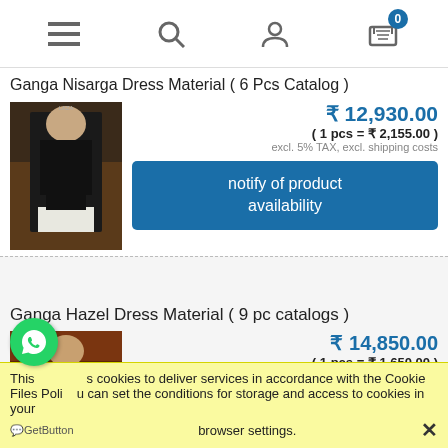Navigation header with menu, search, account, and cart (badge: 0) icons
Ganga Nisarga Dress Material ( 6 Pcs Catalog )
[Figure (photo): Woman wearing black traditional Indian salwar suit dress material]
₹ 12,930.00
( 1 pcs = ₹ 2,155.00 )
excl. 5% TAX, excl. shipping costs
notify of product availability
Ganga Hazel Dress Material ( 9 pc catalogs )
[Figure (photo): Woman wearing brown traditional Indian dress material]
₹ 14,850.00
( 1 pcs = ₹ 1,650.00 )
This site uses cookies to deliver services in accordance with the Cookie Files Policy. You can set the conditions for storage and access to cookies in your browser settings.